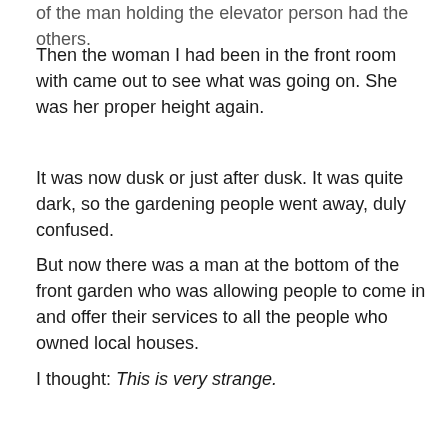of the man holding the elevator person had the others.
Then the woman I had been in the front room with came out to see what was going on. She was her proper height again.
It was now dusk or just after dusk. It was quite dark, so the gardening people went away, duly confused.
But now there was a man at the bottom of the front garden who was allowing people to come in and offer their services to all the people who owned local houses.
I thought: This is very strange.
He was supposed to supervise them, but he was just letting anyone in who wanted to take a photograph.
Well, nothing wrong with that, I thought.